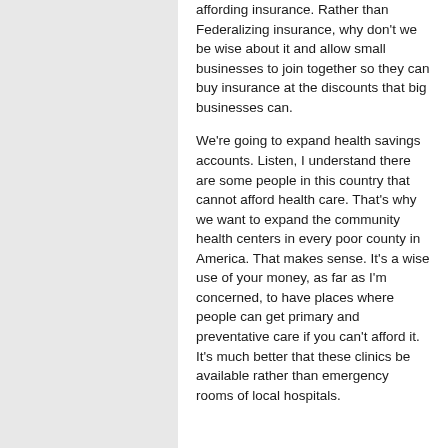affording insurance. Rather than Federalizing insurance, why don't we be wise about it and allow small businesses to join together so they can buy insurance at the discounts that big businesses can.
We're going to expand health savings accounts. Listen, I understand there are some people in this country that cannot afford health care. That's why we want to expand the community health centers in every poor county in America. That makes sense. It's a wise use of your money, as far as I'm concerned, to have places where people can get primary and preventative care if you can't afford it. It's much better that these clinics be available rather than emergency rooms of local hospitals.